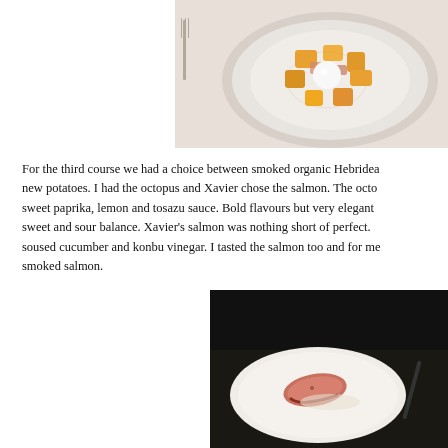[Figure (photo): Top-down view of a plated dish on a round glass plate, featuring orange/yellow cubes of food (possibly butternut squash or mango) with a white spherical element in the center, arranged on a white tablecloth.]
For the third course we had a choice between smoked organic Hebridean salmon with new potatoes. I had the octopus and Xavier chose the salmon. The octopus came with sweet paprika, lemon and tosazu sauce. Bold flavours but very elegant balance of sweet and sour balance. Xavier's salmon was nothing short of perfect. The salmon with soused cucumber and konbu vinegar. I tasted the salmon too and for me it was the best smoked salmon.
[Figure (photo): A plated dish on a white round plate against a dark background, showing what appears to be a slice of smoked salmon with a cream or sauce element.]